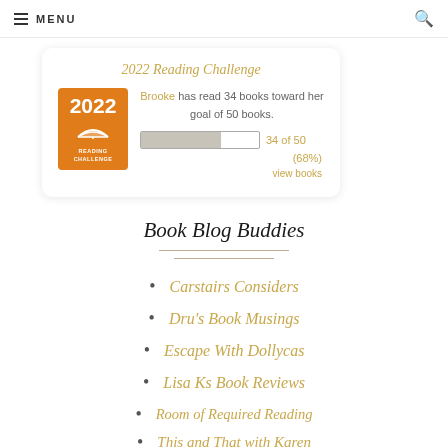MENU
[Figure (infographic): 2022 Reading Challenge widget showing Brooke has read 34 books toward her goal of 50 books. 34 of 50 (68%). Progress bar shown. Link: view books.]
Book Blog Buddies
Carstairs Considers
Dru's Book Musings
Escape With Dollycas
Lisa Ks Book Reviews
Room of Required Reading
This and That with Karen